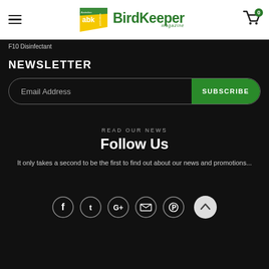[Figure (logo): Australian BirdKeeper Magazine logo with abk publications badge and green text]
F10 Disinfectant
NEWSLETTER
Email Address   SUBSCRIBE
READ OUR NEWS
Follow Us
It only takes a second to be the first to find out about our news and promotions...
[Figure (infographic): Social media icons: Facebook, Twitter, Google+, Email, Pinterest in circular outlines on dark background, plus back-to-top arrow button]